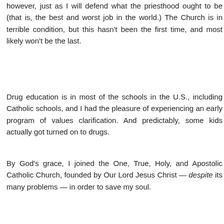however, just as I will defend what the priesthood ought to be (that is, the best and worst job in the world.) The Church is in terrible condition, but this hasn't been the first time, and most likely won't be the last.
Drug education is in most of the schools in the U.S., including Catholic schools, and I had the pleasure of experiencing an early program of values clarification. And predictably, some kids actually got turned on to drugs.
By God’s grace, I joined the One, True, Holy, and Apostolic Catholic Church, founded by Our Lord Jesus Christ — despite its many problems — in order to save my soul.
How about you?
Reply
Kestrel Monday, June 23, 2008 9:21:00 PM
Born Raised Catholic...attended Catholic grade school public high school and Catholic College.....drifted during the sex scandal...I am disgusted that "men" hid the facts and